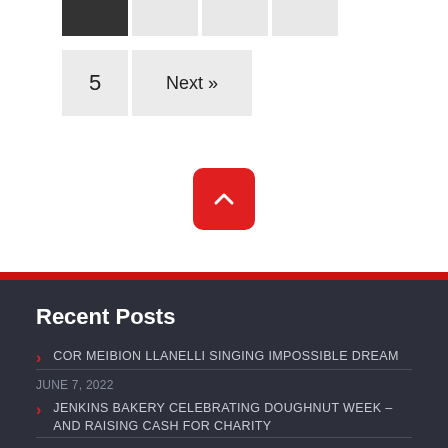[Figure (screenshot): Pagination buttons row with dark first button and light subsequent buttons]
5   Next »
[Figure (other): Red rounded scroll-to-top button with upward chevron icon]
Recent Posts
COR MEIBION LLANELLI SINGING IMPOSSIBLE DREAM
JUNE 7, 2022
JENKINS BAKERY CELEBRATING DOUGHNUT WEEK – AND RAISING CASH FOR CHARITY
JULY 15, 2021
MY SOUTH WALES EVENING POST COLUMN, MAY 14, 2021
MAY 17, 2021
LATEST ON SONG COLUMN IN PDF